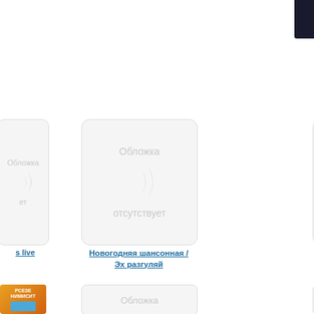[Figure (screenshot): Web page showing music album covers in a grid. Top-right has dark background element. Three rows of album placeholder cards visible. Middle row shows two placeholder cards labeled 'Обложка отсутствует' (Cover absent) and one partially visible on left. Below are album title links: partially visible 's live', 'Новогодняя шансонная / Эх разгуляй', 'Песни финала Eurovision 2010'. Bottom row shows partial album cards, one with an orange book cover visible on far left.]
s live
Новогодняя шансонная / Эх разгуляй
Песни финала Eurovision 2010